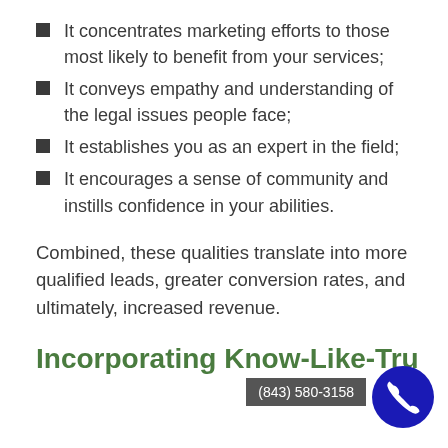It concentrates marketing efforts to those most likely to benefit from your services;
It conveys empathy and understanding of the legal issues people face;
It establishes you as an expert in the field;
It encourages a sense of community and instills confidence in your abilities.
Combined, these qualities translate into more qualified leads, greater conversion rates, and ultimately, increased revenue.
Incorporating Know-Like-Tru…